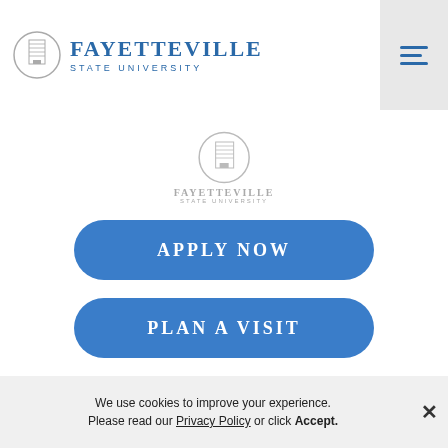Fayetteville State University
[Figure (logo): Fayetteville State University logo - center of page, gray/muted version]
APPLY NOW
PLAN A VISIT
REQUEST INFO
We use cookies to improve your experience. Please read our Privacy Policy or click Accept.